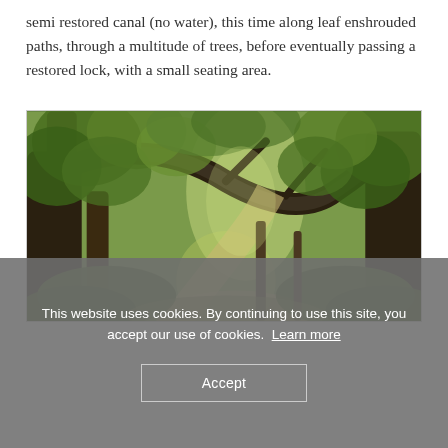semi restored canal (no water), this time along leaf enshrouded paths, through a multitude of trees, before eventually passing a restored lock, with a small seating area.
[Figure (photo): A leaf-enshrouded forest path with large curved tree trunks arching overhead, forming a natural tunnel, with a dirt trail visible winding into the distance.]
This website uses cookies. By continuing to use this site, you accept our use of cookies. Learn more
Accept